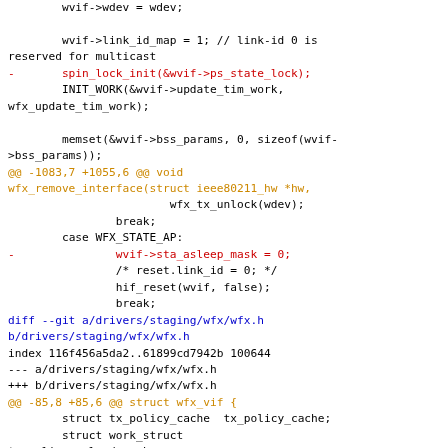Code diff showing changes to Linux kernel staging driver wfx files